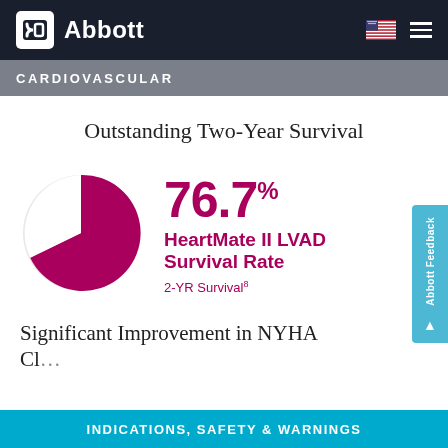Abbott
CARDIOVASCULAR
Outstanding Two-Year Survival
[Figure (pie-chart): 76.7% HeartMate II LVAD Survival Rate]
76.7% HeartMate II LVAD Survival Rate 2-YR Survival8
Significant Improvement in NYHA Cl...
INDICATIONS, SAFETY & WARNINGS